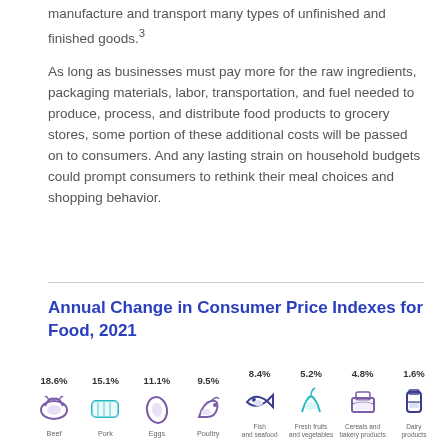manufacture and transport many types of unfinished and finished goods.³
As long as businesses must pay more for the raw ingredients, packaging materials, labor, transportation, and fuel needed to produce, process, and distribute food products to grocery stores, some portion of these additional costs will be passed on to consumers. And any lasting strain on household budgets could prompt consumers to rethink their meal choices and shopping behavior.
Annual Change in Consumer Price Indexes for Food, 2021
[Figure (infographic): Annual Change in Consumer Price Indexes for Food, 2021]